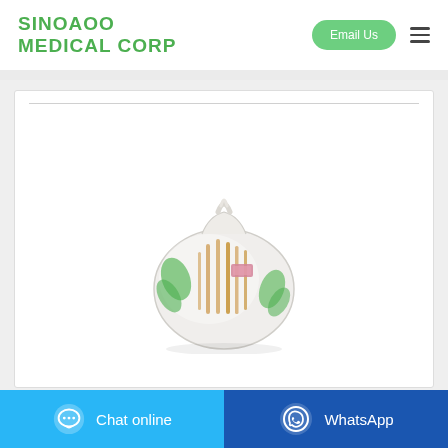[Figure (logo): SINOAOO MEDICAL CORP logo in green bold uppercase text]
[Figure (photo): Medical product — a white bag containing what appears to be acupuncture needles or similar medical sticks with green and white packaging, tied at the top with a twisted plastic seal, showing a small pink label on the front]
Chat online
WhatsApp